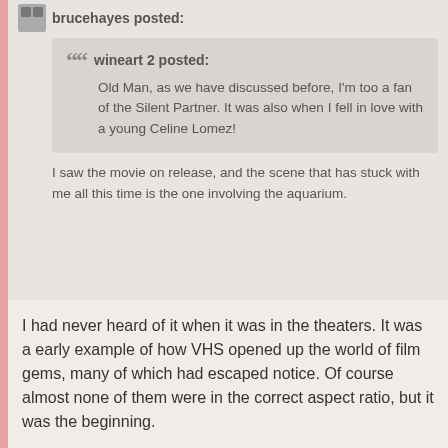brucehayes posted:
wineart 2 posted:
Old Man, as we have discussed before, I'm too a fan of the Silent Partner. It was also when I fell in love with a young Celine Lomez!
I saw the movie on release, and the scene that has stuck with me all this time is the one involving the aquarium.
I had never heard of it when it was in the theaters. It was a early example of how VHS opened up the world of film gems, many of which had escaped notice. Of course almost none of them were in the correct aspect ratio, but it was the beginning.